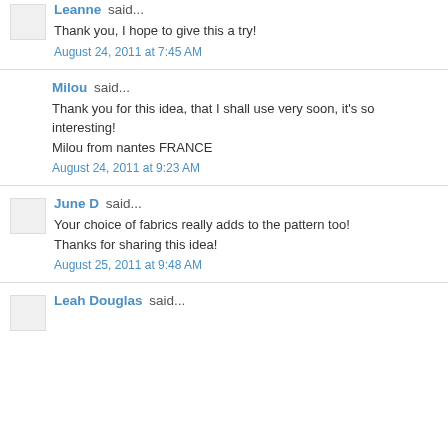Leanne said...
Thank you, I hope to give this a try!
August 24, 2011 at 7:45 AM
Milou said...
Thank you for this idea, that I shall use very soon, it's so interesting!
Milou from nantes FRANCE
August 24, 2011 at 9:23 AM
June D said...
Your choice of fabrics really adds to the pattern too!
Thanks for sharing this idea!
August 25, 2011 at 9:48 AM
Leah Douglas said...